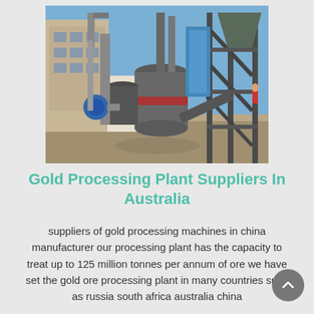[Figure (photo): Industrial gold processing plant facility showing large metal tanks, silos, pipes, conveyors, and steel framework structures against a blue sky background.]
Gold Processing Plant Suppliers In Australia
suppliers of gold processing machines in china manufacturer our processing plant has the capacity to treat up to 125 million tonnes per annum of ore we have set the gold ore processing plant in many countries such as russia south africa australia china